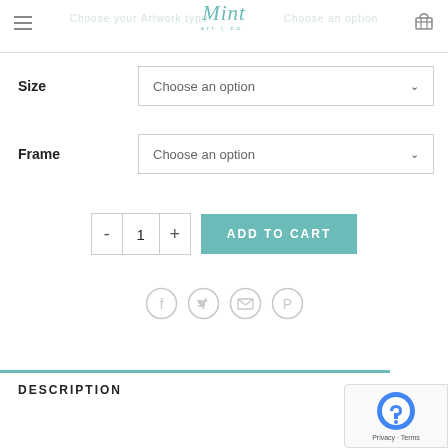Mint art co. — Choose your Artwork type — Choose an option
Size — Choose an option
Frame — Choose an option
- 1 + ADD TO CART
[Figure (other): Social share icons: Facebook, Twitter, Email, Pinterest]
DESCRIPTION
[Figure (other): Google reCAPTCHA badge with Privacy and Terms links]